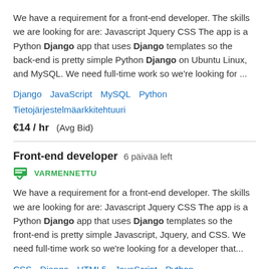We have a requirement for a front-end developer. The skills we are looking for are: Javascript Jquery CSS The app is a Python Django app that uses Django templates so the back-end is pretty simple Python Django on Ubuntu Linux, and MySQL. We need full-time work so we're looking for ...
Django   JavaScript   MySQL   Python   Tietojärjestelmäarkkitehtuuri
€14 / hr   (Avg Bid)
Front-end developer   6 päivää left
VARMENNETTU
We have a requirement for a front-end developer. The skills we are looking for are: Javascript Jquery CSS The app is a Python Django app that uses Django templates so the front-end is pretty simple Javascript, Jquery, and CSS. We need full-time work so we're looking for a developer that...
CSS   Django   HTML5   JavaScript   Python